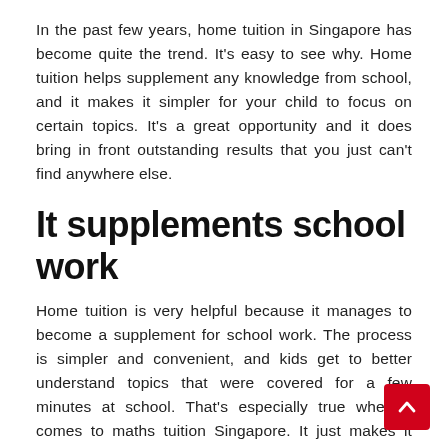In the past few years, home tuition in Singapore has become quite the trend. It's easy to see why. Home tuition helps supplement any knowledge from school, and it makes it simpler for your child to focus on certain topics. It's a great opportunity and it does bring in front outstanding results that you just can't find anywhere else.
It supplements school work
Home tuition is very helpful because it manages to become a supplement for school work. The process is simpler and convenient, and kids get to better understand topics that were covered for a few minutes at school. That's especially true when it comes to maths tuition Singapore. It just makes it easier for kids to master any maths related topics, and the results themselves can be among some of the best.